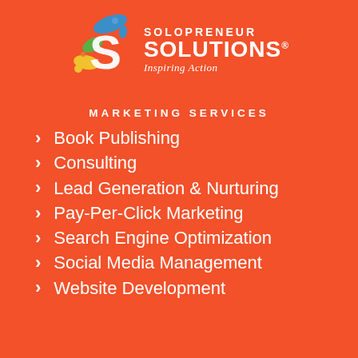[Figure (logo): Solopreneur Solutions logo with colorful S splash icon, text SOLOPRENEUR SOLUTIONS and tagline Inspiring Action]
MARKETING SERVICES
Book Publishing
Consulting
Lead Generation & Nurturing
Pay-Per-Click Marketing
Search Engine Optimization
Social Media Management
Website Development